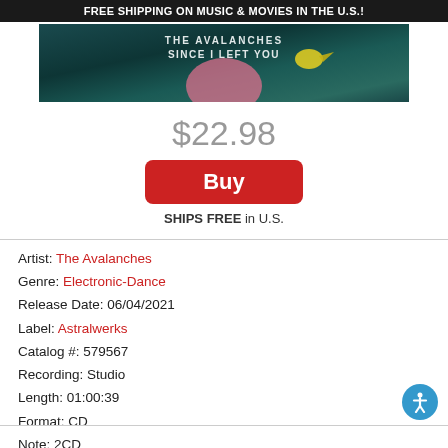FREE SHIPPING ON MUSIC & MOVIES IN THE U.S.!
[Figure (photo): Album cover for 'Since I Left You' by The Avalanches — dark teal/teal background with text 'THE AVALANCHES SINCE I LEFT YOU' and colorful bird illustration]
$22.98
Buy
SHIPS FREE in U.S.
Artist: The Avalanches
Genre: Electronic-Dance
Release Date: 06/04/2021
Label: Astralwerks
Catalog #: 579567
Recording: Studio
Length: 01:00:39
Format: CD
Note: 2CD